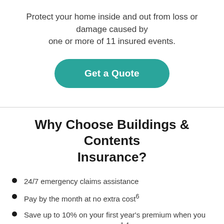Protect your home inside and out from loss or damage caused by one or more of 11 insured events.
[Figure (other): Teal rounded button labeled 'Get a Quote']
Why Choose Buildings & Contents Insurance?
24/7 emergency claims assistance
Pay by the month at no extra cost6
Save up to 10% on your first year's premium when you purchase a new policy online1,4